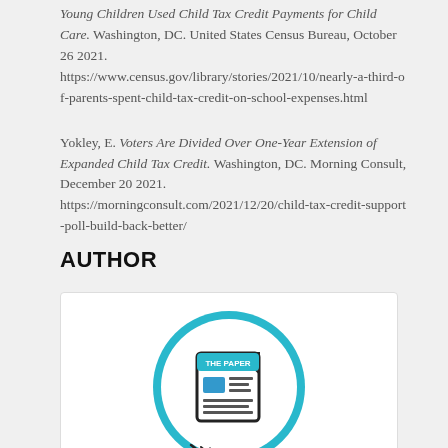Young Children Used Child Tax Credit Payments for Child Care. Washington, DC. United States Census Bureau, October 26 2021. https://www.census.gov/library/stories/2021/10/nearly-a-third-of-parents-spent-child-tax-credit-on-school-expenses.html
Yokley, E. Voters Are Divided Over One-Year Extension of Expanded Child Tax Credit. Washington, DC. Morning Consult, December 20 2021. https://morningconsult.com/2021/12/20/child-tax-credit-support-poll-build-back-better/
AUTHOR
[Figure (logo): A circular logo showing a cartoon newspaper with 'THE PAPER' text, drawn in teal/cyan and black on white background, inside a teal circle border.]